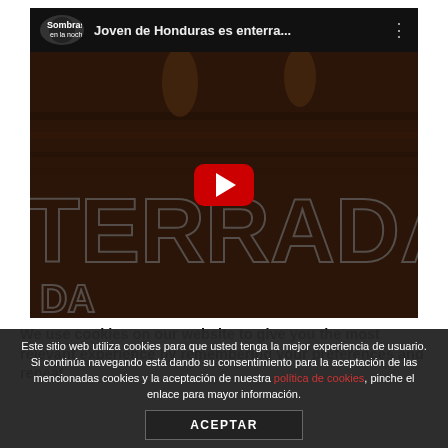[Figure (screenshot): YouTube video embed thumbnail showing 'Joven de Honduras es enterra...' from channel 'Sombras en la noche'. Dark background with large text overlay 'TERRADA' and a red play button in the center.]
We use cookies on our website to give you the most relevant experience by remembering your preferences and repeat
Este sitio web utiliza cookies para que usted tenga la mejor experiencia de usuario. Si continúa navegando está dando su consentimiento para la aceptación de las mencionadas cookies y la aceptación de nuestra política de cookies, pinche el enlace para mayor información.
ACEPTAR